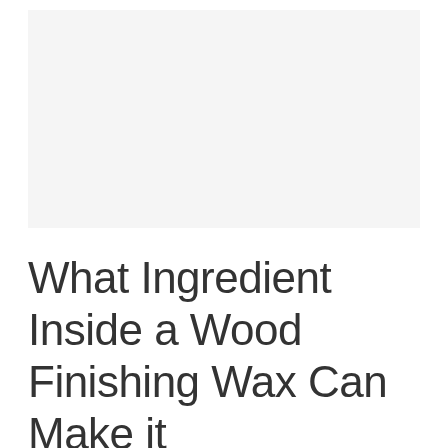[Figure (photo): A light gray rectangular placeholder image area at the top of the page.]
What Ingredient Inside a Wood Finishing Wax Can Make it